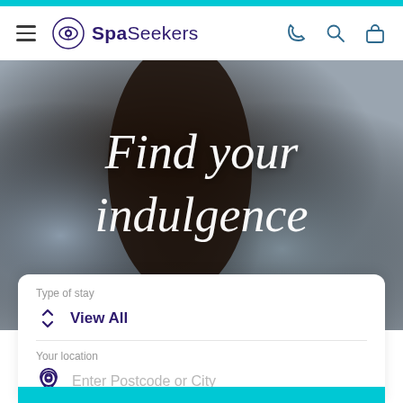SpaSeekers navigation bar with logo, hamburger menu, phone, search, and bag icons
[Figure (photo): Hero image with blurred spa background showing dark silhouette and blue-grey tones with cursive white text 'Find your indulgence']
Find your indulgence
Type of stay
View All
Your location
Enter Postcode or City